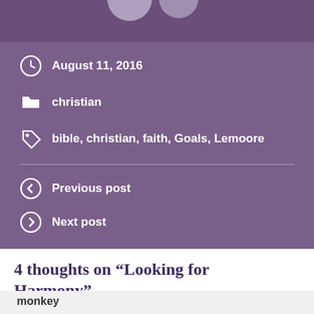[Figure (other): Purple header bar with partially visible circular avatar images]
August 11, 2016
christian
bible, christian, faith, Goals, Lemoore
Previous post
Next post
4 thoughts on “Looking for Harmony”
monkey